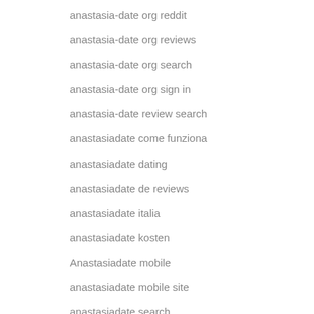anastasia-date org reddit
anastasia-date org reviews
anastasia-date org search
anastasia-date org sign in
anastasia-date review search
anastasiadate come funziona
anastasiadate dating
anastasiadate de reviews
anastasiadate italia
anastasiadate kosten
Anastasiadate mobile
anastasiadate mobile site
anastasiadate search
anastasiadate sito di incontri
Anastasiadate visitors